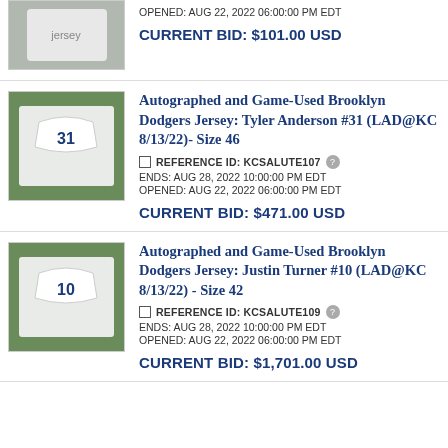[Figure (photo): Jersey auction listing photo (partial, top cropped) - appears to show a Dodgers jersey on grass]
OPENED: AUG 22, 2022 06:00:00 PM EDT
CURRENT BID: $101.00 USD
[Figure (photo): Photo of white Brooklyn Dodgers jersey #31 (Tyler Anderson) laid on green grass]
Autographed and Game-Used Brooklyn Dodgers Jersey: Tyler Anderson #31 (LAD@KC 8/13/22)- Size 46
REFERENCE ID: KCSALUTE107
ENDS: AUG 28, 2022 10:00:00 PM EDT
OPENED: AUG 22, 2022 06:00:00 PM EDT
CURRENT BID: $471.00 USD
[Figure (photo): Photo of white Brooklyn Dodgers jersey #10 (Justin Turner) laid on green grass]
Autographed and Game-Used Brooklyn Dodgers Jersey: Justin Turner #10 (LAD@KC 8/13/22) - Size 42
REFERENCE ID: KCSALUTE109
ENDS: AUG 28, 2022 10:00:00 PM EDT
OPENED: AUG 22, 2022 06:00:00 PM EDT
CURRENT BID: $1,701.00 USD